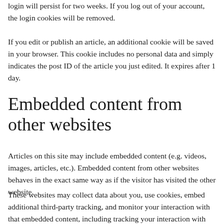login will persist for two weeks. If you log out of your account, the login cookies will be removed.
If you edit or publish an article, an additional cookie will be saved in your browser. This cookie includes no personal data and simply indicates the post ID of the article you just edited. It expires after 1 day.
Embedded content from other websites
Articles on this site may include embedded content (e.g. videos, images, articles, etc.). Embedded content from other websites behaves in the exact same way as if the visitor has visited the other website.
These websites may collect data about you, use cookies, embed additional third-party tracking, and monitor your interaction with that embedded content, including tracking your interaction with the embedded content if you have an account and are logged in to that website.